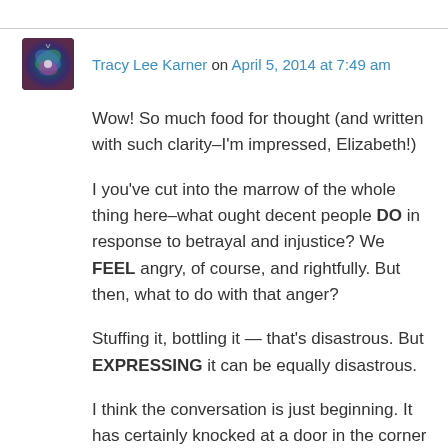[Figure (illustration): Round avatar image with colorful abstract/butterfly design in blue, green, and purple tones]
Tracy Lee Karner on April 5, 2014 at 7:49 am
Wow! So much food for thought (and written with such clarity–I'm impressed, Elizabeth!)
I you've cut into the marrow of the whole thing here–what ought decent people DO in response to betrayal and injustice? We FEEL angry, of course, and rightfully. But then, what to do with that anger?
Stuffing it, bottling it — that's disastrous. But EXPRESSING it can be equally disastrous.
I think the conversation is just beginning. It has certainly knocked at a door in the corner of my mind, in a place I didn't know a door had been